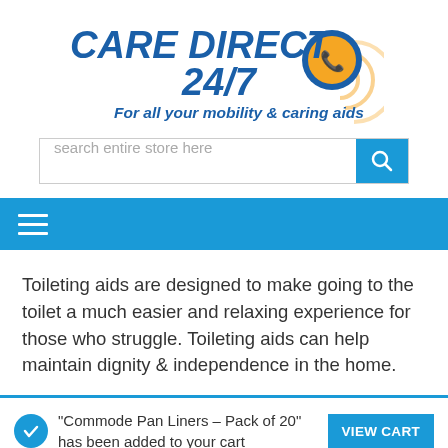[Figure (logo): Care Direct 24/7 logo with phone icon and signal waves, tagline: For all your mobility & caring aids]
[Figure (screenshot): Search bar with placeholder text 'search entire store here' and blue search button]
[Figure (infographic): Blue navigation bar with hamburger menu (three white lines)]
Toileting aids are designed to make going to the toilet a much easier and relaxing experience for those who struggle. Toileting aids can help maintain dignity & independence in the home.
"Commode Pan Liners – Pack of 20" has been added to your cart